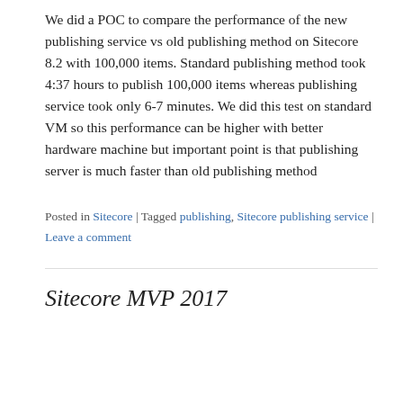We did a POC to compare the performance of the new publishing service vs old publishing method on Sitecore 8.2 with 100,000 items. Standard publishing method took 4:37 hours to publish 100,000 items whereas publishing service took only 6-7 minutes. We did this test on standard VM so this performance can be higher with better hardware machine but important point is that publishing server is much faster than old publishing method
Posted in Sitecore | Tagged publishing, Sitecore publishing service | Leave a comment
Sitecore MVP 2017